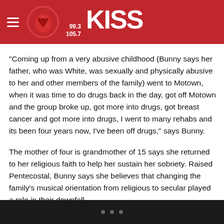[Figure (logo): 99.3 / 105.7 KISS radio station logo with hamburger menu icon on red header background]
“Coming up from a very abusive childhood (Bunny says her father, who was White, was sexually and physically abusive to her and other members of the family) went to Motown, when it was time to do drugs back in the day, got off Motown and the group broke up, got more into drugs, got breast cancer and got more into drugs, I went to many rehabs and its been four years now, I’ve been off drugs,” says Bunny.
The mother of four is grandmother of 15 says she returned to her religious faith to help her sustain her sobriety. Raised Pentecostal, Bunny says she believes that changing the family’s musical orientation from religious to secular played a role in their downfall.